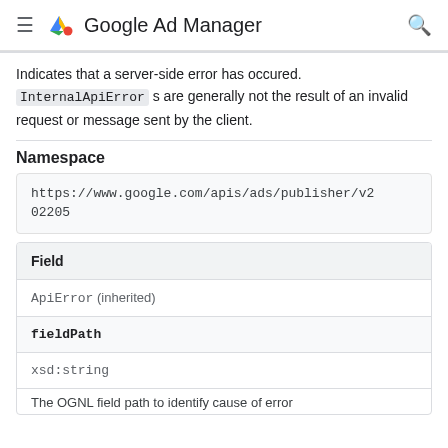Google Ad Manager
Indicates that a server-side error has occured. InternalApiErrors are generally not the result of an invalid request or message sent by the client.
Namespace
https://www.google.com/apis/ads/publisher/v202205
| Field |
| --- |
| ApiError (inherited) |
| fieldPath |
| xsd:string |
| The OGNL field path to identify cause of error |